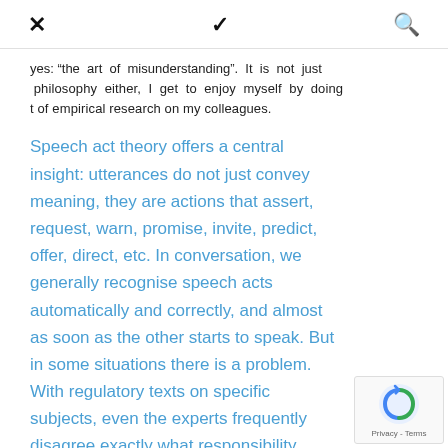✕  ✓  🔍
yes: “the art of misunderstanding”. It is not just philosophy either, I get to enjoy myself by doing t of empirical research on my colleagues.
Speech act theory offers a central insight: utterances do not just convey meaning, they are actions that assert, request, warn, promise, invite, predict, offer, direct, etc. In conversation, we generally recognise speech acts automatically and correctly, and almost as soon as the other starts to speak. But in some situations there is a problem. With regulatory texts on specific subjects, even the experts frequently disagree exactly what responsibility